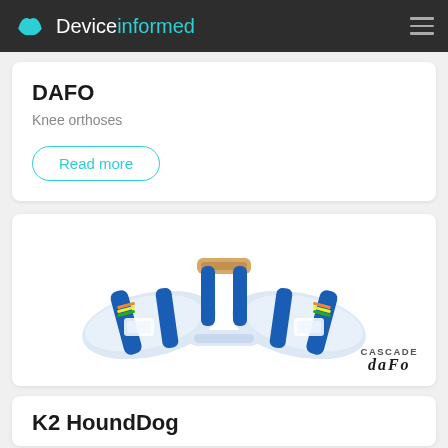Deviceinformed
DAFO
Knee orthoses
Read more
[Figure (photo): Knee orthosis (K2 HoundDog) device with blue straps and rainbow accents, white plastic shell, viewed from behind. CASCADE DAFO brand logo in bottom right corner.]
K2 HoundDog